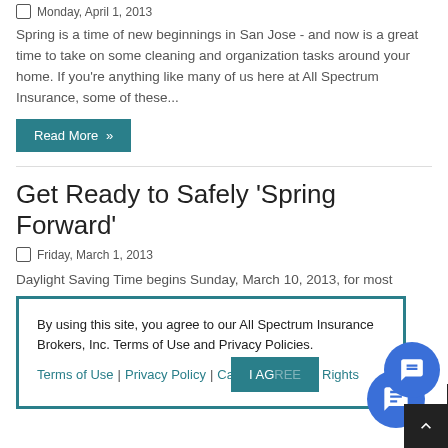Monday, April 1, 2013
Spring is a time of new beginnings in San Jose - and now is a great time to take on some cleaning and organization tasks around your home. If you're anything like many of us here at All Spectrum Insurance, some of these...
Read More »
Get Ready to Safely 'Spring Forward'
Friday, March 1, 2013
Daylight Saving Time begins Sunday, March 10, 2013, for most places
By using this site, you agree to our All Spectrum Insurance Brokers, Inc. Terms of Use and Privacy Policies.
Terms of Use | Privacy Policy | California Privacy Rights
I AGREE